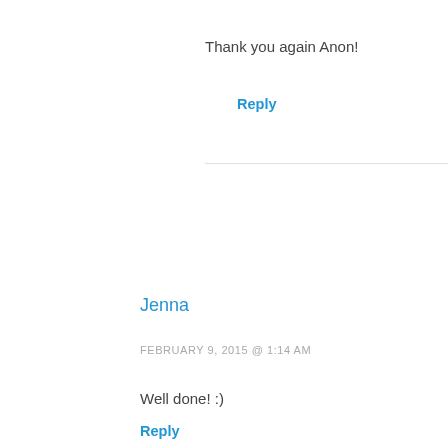Thank you again Anon!
Reply
Jenna
FEBRUARY 9, 2015 @ 1:14 AM
Well done! :)
Reply